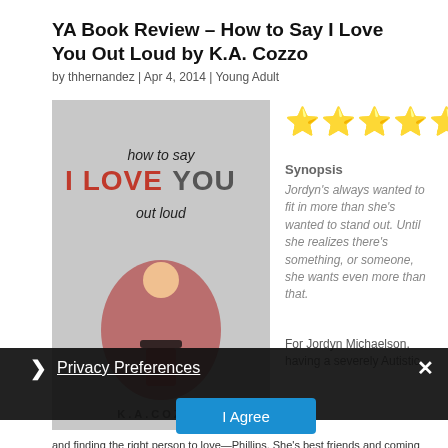YA Book Review – How to Say I Love You Out Loud by K.A. Cozzo
by thhernandez | Apr 4, 2014 | Young Adult
[Figure (illustration): Book cover of 'How to Say I Love You Out Loud' by K.A. Cozzo, showing a girl lying on her back holding a megaphone, with stylized text of the title]
[Figure (other): Five gold star rating icons]
Synopsis
Jordyn's always wanted to fit in more than she's wanted to stand out. Until she realizes there's something, or someone, she wants even more than that.
For Jordyn Michaelson, having a severely Autistic
Privacy Preferences
I Agree
and finding the right person to love—Phillips. She's best friends and coming into her own. Besides that, the